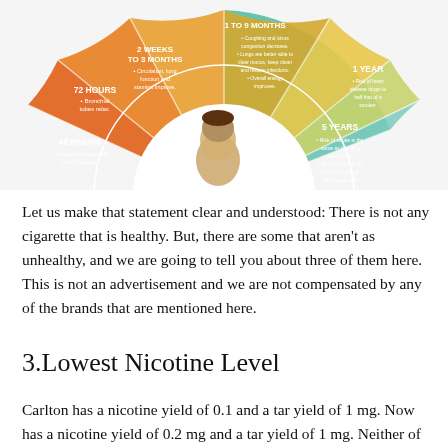[Figure (infographic): Semi-circular infographic showing health benefits timeline after quitting smoking. Segments include: 48 Hours (senses of taste and smell improve), 72 Hours (bronchial tubes relax), 2 Weeks to 3 Months (circulation, lung function and stamina improve), 1 to 9 Months (coughing and sinus congestion decrease, lungs are better able to clear mucus, overall energy improves), 1 Year (risk of heart disease drops to half that of a smoker), 5 Years (risk of stroke same as nonsmoker, risks of cancer of mouth, throat, esophagus and bladder are cut in half, risk of cervical cancer falls to that of a nonsmoker). Colors from orange to teal. A human head silhouette is in the center.]
Let us make that statement clear and understood: There is not any cigarette that is healthy. But, there are some that aren't as unhealthy, and we are going to tell you about three of them here. This is not an advertisement and we are not compensated by any of the brands that are mentioned here.
3.Lowest Nicotine Level
Carlton has a nicotine yield of 0.1 and a tar yield of 1 mg. Now has a nicotine yield of 0.2 mg and a tar yield of 1 mg. Neither of these